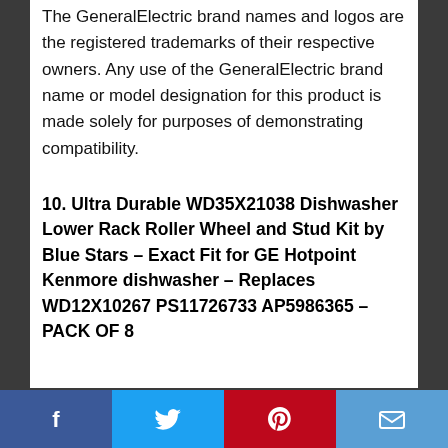The GeneralElectric brand names and logos are the registered trademarks of their respective owners. Any use of the GeneralElectric brand name or model designation for this product is made solely for purposes of demonstrating compatibility.
10. Ultra Durable WD35X21038 Dishwasher Lower Rack Roller Wheel and Stud Kit by Blue Stars – Exact Fit for GE Hotpoint Kenmore dishwasher – Replaces WD12X10267 PS11726733 AP5986365 – PACK OF 8
Social share bar: Facebook, Twitter, Pinterest, Email